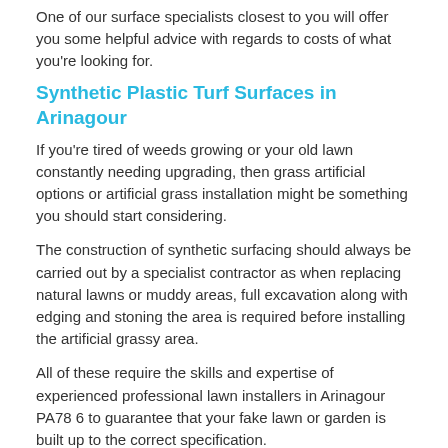One of our surface specialists closest to you will offer you some helpful advice with regards to costs of what you're looking for.
Synthetic Plastic Turf Surfaces in Arinagour
If you're tired of weeds growing or your old lawn constantly needing upgrading, then grass artificial options or artificial grass installation might be something you should start considering.
The construction of synthetic surfacing should always be carried out by a specialist contractor as when replacing natural lawns or muddy areas, full excavation along with edging and stoning the area is required before installing the artificial grassy area.
All of these require the skills and expertise of experienced professional lawn installers in Arinagour PA78 6 to guarantee that your fake lawn or garden is built up to the correct specification.
You can learn more about professional lawn installers here - http://artificialgrass-syntheticturf.co.uk/garden-grass/fake-garden-lawn-installers/argyll-and-bute/arinagour/ to find out exactly what will work well for your home.